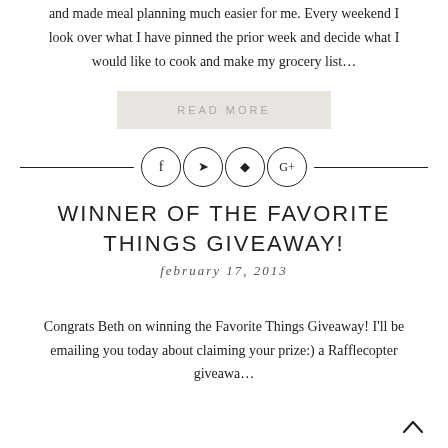and made meal planning much easier for me. Every weekend I look over what I have pinned the prior week and decide what I would like to cook and make my grocery list…
READ MORE
[Figure (infographic): Social media share icons (Facebook, Twitter, Pinterest, Google+) in circles with horizontal lines on each side]
WINNER OF THE FAVORITE THINGS GIVEAWAY!
february 17, 2013
Congrats Beth on winning the Favorite Things Giveaway! I'll be emailing you today about claiming your prize:) a Rafflecopter giveawa…